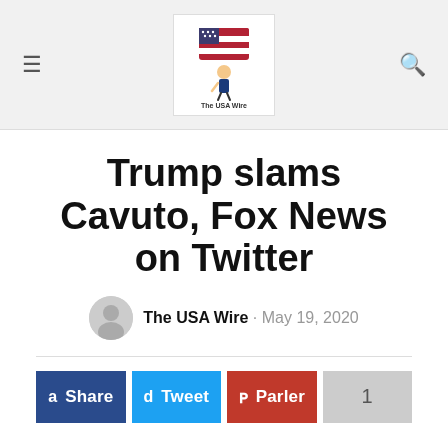The USA Wire — site header with logo, hamburger menu, and search icon
Trump slams Cavuto, Fox News on Twitter
The USA Wire · May 19, 2020
[Figure (infographic): Social sharing buttons: Share (dark blue), Tweet (light blue), Parler (red), count badge showing 1 (gray)]
President Trump is looking for a new media outlet after Fox News' Neil Cavuto criticized him on-air for taking hydroxychloroquine to prevent COVID-19